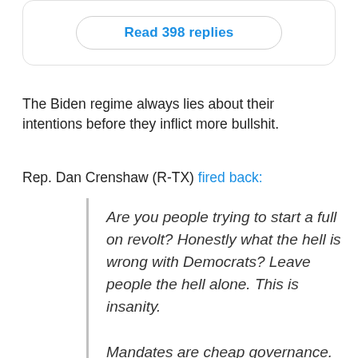[Figure (screenshot): Button reading 'Read 398 replies' inside a rounded card border]
The Biden regime always lies about their intentions before they inflict more bullshit.
Rep. Dan Crenshaw (R-TX) fired back:
Are you people trying to start a full on revolt? Honestly what the hell is wrong with Democrats? Leave people the hell alone. This is insanity.

Mandates are cheap governance.